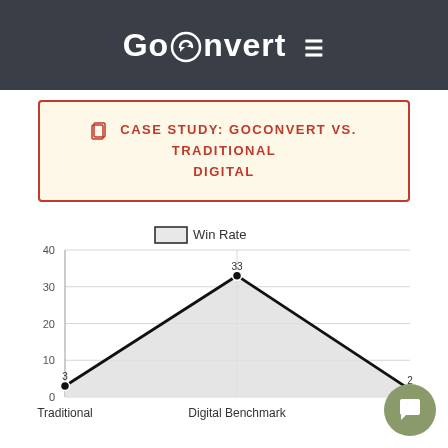GoConvert
CASE STUDY: GOCONVERT VS. TRADITIONAL DIGITAL
[Figure (area-chart): Win Rate]